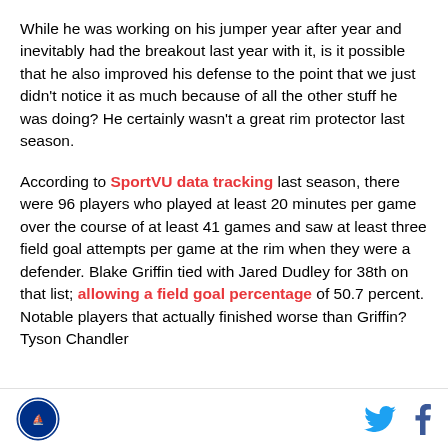While he was working on his jumper year after year and inevitably had the breakout last year with it, is it possible that he also improved his defense to the point that we just didn't notice it as much because of all the other stuff he was doing? He certainly wasn't a great rim protector last season.
According to SportVU data tracking last season, there were 96 players who played at least 20 minutes per game over the course of at least 41 games and saw at least three field goal attempts per game at the rim when they were a defender. Blake Griffin tied with Jared Dudley for 38th on that list; allowing a field goal percentage of 50.7 percent. Notable players that actually finished worse than Griffin? Tyson Chandler
Site logo | Twitter | Facebook